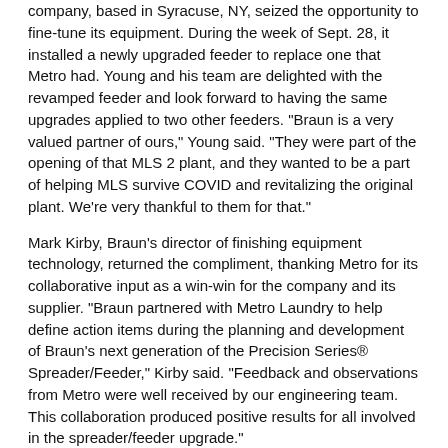company, based in Syracuse, NY, seized the opportunity to fine-tune its equipment. During the week of Sept. 28, it installed a newly upgraded feeder to replace one that Metro had. Young and his team are delighted with the revamped feeder and look forward to having the same upgrades applied to two other feeders. “Braun is a very valued partner of ours,” Young said. “They were part of the opening of that MLS 2 plant, and they wanted to be a part of helping MLS survive COVID and revitalizing the original plant. We’re very thankful to them for that.”
Mark Kirby, Braun’s director of finishing equipment technology, returned the compliment, thanking Metro for its collaborative input as a win-win for the company and its supplier. “Braun partnered with Metro Laundry to help define action items during the planning and development of Braun’s next generation of the Precision Series® Spreader/Feeder,” Kirby said. “Feedback and observations from Metro were well received by our engineering team. This collaboration produced positive results for all involved in the spreader/feeder upgrade.”
Braun’s team of engineers arrived at Metro on Sept. 27 to install the new feeder. The upgraded machine includes fault detection and the company’s patented spread-detection device, re-engineered spread clamps and more.
The Braun tech experts stayed at Metro through Sept. 30. Young said his team was also able to observe the machine in the room adjacent